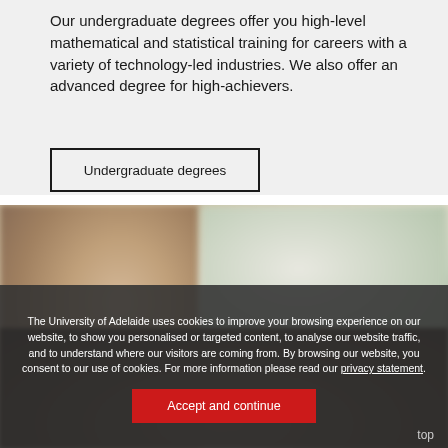Our undergraduate degrees offer you high-level mathematical and statistical training for careers with a variety of technology-led industries. We also offer an advanced degree for high-achievers.
Undergraduate degrees
[Figure (photo): Blurred photo of a person with dark hair, set in a room with natural light and greenery visible in the background.]
The University of Adelaide uses cookies to improve your browsing experience on our website, to show you personalised or targeted content, to analyse our website traffic, and to understand where our visitors are coming from. By browsing our website, you consent to our use of cookies. For more information please read our privacy statement.
Accept and continue